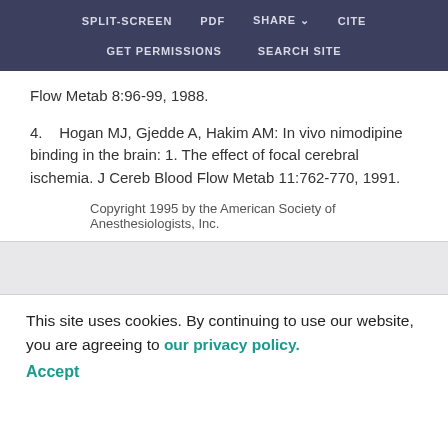SPLIT-SCREEN  PDF  SHARE  CITE  GET PERMISSIONS  SEARCH SITE
Flow Metab 8:96-99, 1988.
4.   Hogan MJ, Gjedde A, Hakim AM: In vivo nimodipine binding in the brain: 1. The effect of focal cerebral ischemia. J Cereb Blood Flow Metab 11:762-770, 1991.
Copyright 1995 by the American Society of Anesthesiologists, Inc.
This site uses cookies. By continuing to use our website, you are agreeing to our privacy policy. Accept